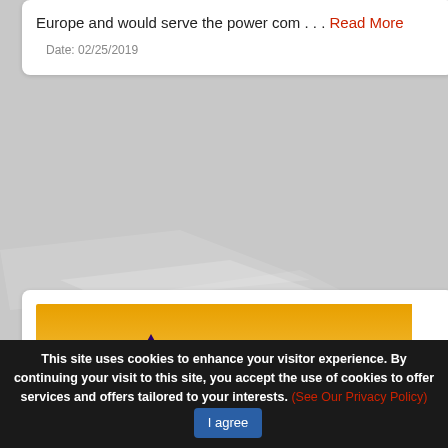Europe and would serve the power com . . . Read More
Date: 02/25/2019
[Figure (illustration): Abstract 3D digital art with golden/amber background showing purple and orange-red mountain/cone shapes with a row of small dark triangular peaks across the middle.]
This site uses cookies to enhance your visitor experience. By continuing your visit to this site, you accept the use of cookies to offer services and offers tailored to your interests. (See Our Privacy Policy) I agree